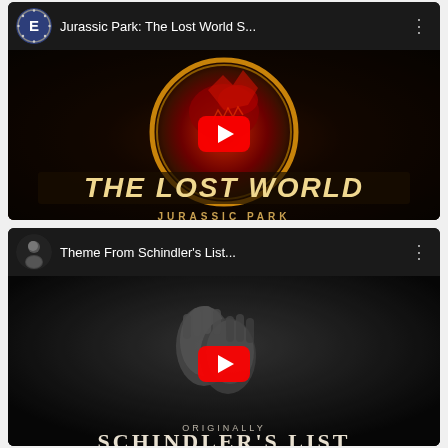[Figure (screenshot): YouTube video thumbnail for 'Jurassic Park: The Lost World S...' showing The Lost World Jurassic Park movie logo with a red T-Rex on a circular background, and a YouTube play button overlay. Channel avatar shown in top-left corner with three-dot menu on right.]
[Figure (screenshot): YouTube video thumbnail for 'Theme From Schindler's List...' showing the Schindler's List movie poster with clasped hands in black and white, and 'SCHINDLER'S LIST' text at the bottom. Channel avatar (person photo) shown in top-left with three-dot menu on right.]